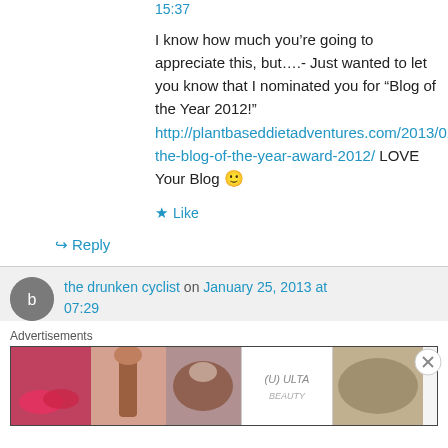15:37
I know how much you’re going to appreciate this, but….- Just wanted to let you know that I nominated you for “Blog of the Year 2012!” http://plantbaseddietadventures.com/2013/01/24/the-blog-of-the-year-award-2012/ LOVE Your Blog 🙂
★ Like
↪ Reply
the drunken cyclist on January 25, 2013 at 07:29
Advertisements
[Figure (photo): ULTA beauty advertisement banner showing makeup photos and SHOP NOW text]